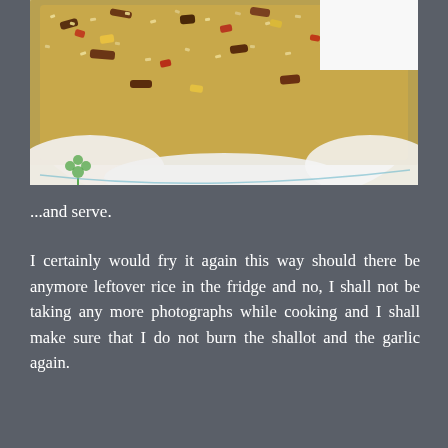[Figure (photo): A white bowl with green floral decoration filled with fried rice containing visible bits of meat, vegetables, and seasonings, photographed close up from above on a white background.]
...and serve.
I certainly would fry it again this way should there be anymore leftover rice in the fridge and no, I shall not be taking any more photographs while cooking and I shall make sure that I do not burn the shallot and the garlic again.